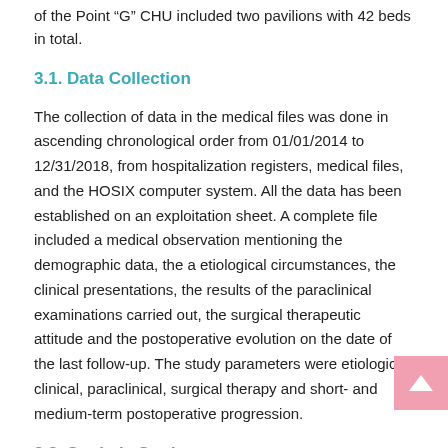of the Point “G” CHU included two pavilions with 42 beds in total.
3.1. Data Collection
The collection of data in the medical files was done in ascending chronological order from 01/01/2014 to 12/31/2018, from hospitalization registers, medical files, and the HOSIX computer system. All the data has been established on an exploitation sheet. A complete file included a medical observation mentioning the demographic data, the a etiological circumstances, the clinical presentations, the results of the paraclinical examinations carried out, the surgical therapeutic attitude and the postoperative evolution on the date of the last follow-up. The study parameters were etiological, clinical, paraclinical, surgical therapy and short- and medium-term postoperative progression.
3.2. Statistic Study